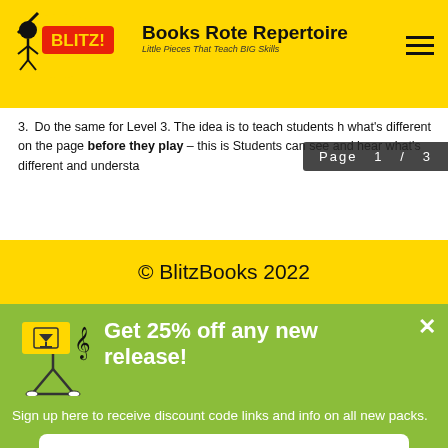BLITZ! Books Rote Repertoire — Little Pieces That Teach BIG Skills
3. Do the same for Level 3. The idea is to teach students h what's different on the page before they play – this is Students can see and hear what's different and understa
Page 1 / 3
© BlitzBooks 2022
Get 25% off any new release!
Sign up here to receive discount code links and info on all new packs.
Yes please, sign me up